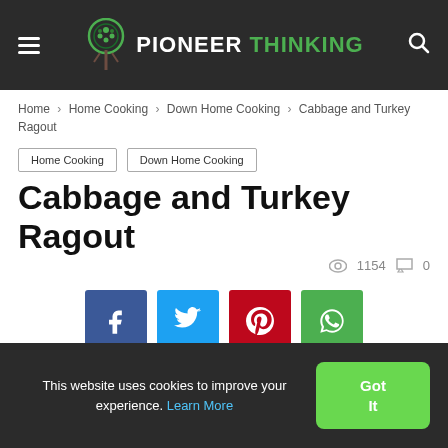Pioneer Thinking — navigation header
Home › Home Cooking › Down Home Cooking › Cabbage and Turkey Ragout
Home Cooking  Down Home Cooking
Cabbage and Turkey Ragout
1154 views  0 comments
[Figure (other): Social sharing buttons: Facebook, Twitter, Pinterest, WhatsApp]
This website uses cookies to improve your experience. Learn More  Got It